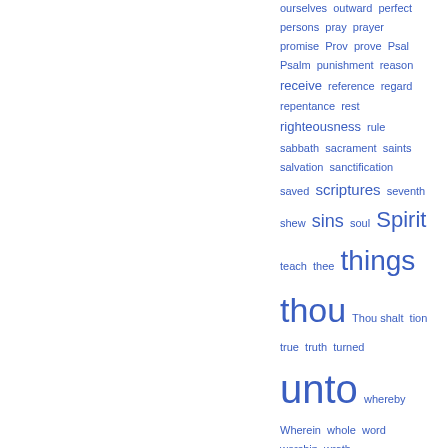[Figure (infographic): Word cloud / tag cloud of religious/theological index terms in blue, with varying font sizes indicating frequency. Terms include: ourselves, outward, perfect, persons, pray, prayer, promise, Prov, prove, Psal, Psalm, punishment, reason, receive, reference, regard, repentance, rest, righteousness, rule, sabbath, sacrament, saints, salvation, sanctification, saved, scriptures, seventh, shew, sins, soul, Spirit, teach, thee, things, thou, Thou shalt, tion, true, truth, turned, unto, whereby, Wherein, whole, word, worship, wrath]